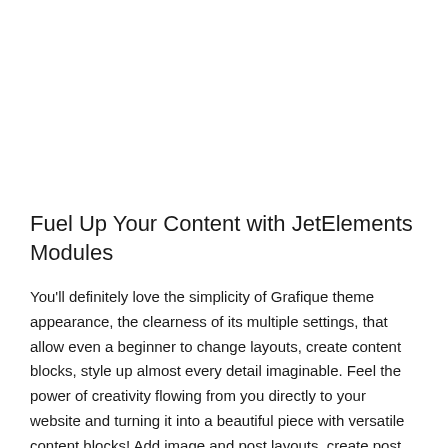Fuel Up Your Content with JetElements Modules
You'll definitely love the simplicity of Grafique theme appearance, the clearness of its multiple settings, that allow even a beginner to change layouts, create content blocks, style up almost every detail imaginable. Feel the power of creativity flowing from you directly to your website and turning it into a beautiful piece with versatile content blocks! Add image and post layouts, create post